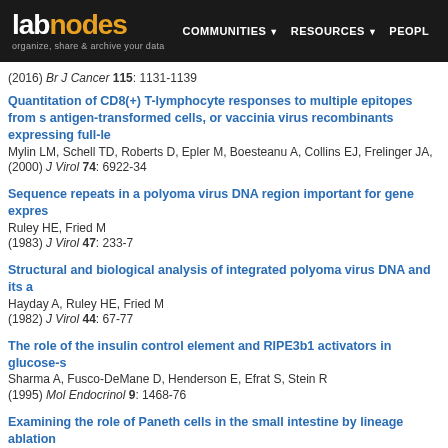labnodes — organize, share & archive your data — COMMUNITIES RESOURCES PEOPLE
(2016) Br J Cancer 115: 1131-1139
Quantitation of CD8(+) T-lymphocyte responses to multiple epitopes from s... antigen-transformed cells, or vaccinia virus recombinants expressing full-l...
Mylin LM, Schell TD, Roberts D, Epler M, Boesteanu A, Collins EJ, Frelinger JA,
(2000) J Virol 74: 6922-34
Sequence repeats in a polyoma virus DNA region important for gene expres...
Ruley HE, Fried M
(1983) J Virol 47: 233-7
Structural and biological analysis of integrated polyoma virus DNA and its a...
Hayday A, Ruley HE, Fried M
(1982) J Virol 44: 67-77
The role of the insulin control element and RIPE3b1 activators in glucose-s...
Sharma A, Fusco-DeMane D, Henderson E, Efrat S, Stein R
(1995) Mol Endocrinol 9: 1468-76
Examining the role of Paneth cells in the small intestine by lineage ablation...
Garabedian EM, Roberts LJ, McNevin MS, Gordon JI
(1997) J Biol Chem 272: 23729-40
Polyomavirus simian virus 40 infection associated with nephropathy in a lu...
Milstone A, Vilchez RA, Geiger X, Fogo AB, Butel JS, Dummer S
(2004) Transplantation 77: 1019-24